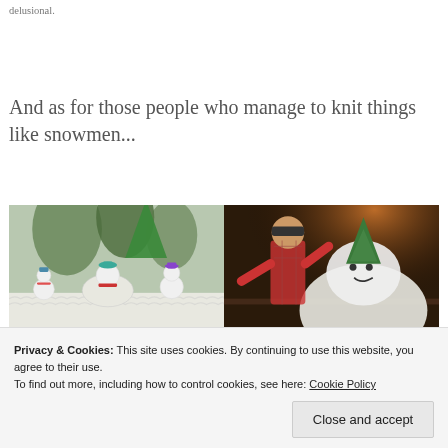delusional.
And as for those people who manage to knit things like snowmen...
[Figure (photo): Two photos side by side: left shows knitted snowmen figures on a white knitted surface with green trees in a snowy outdoor setting; right shows a person in winter attire holding a large knitted snowman or character at night with orange lighting.]
Privacy & Cookies: This site uses cookies. By continuing to use this website, you agree to their use.
To find out more, including how to control cookies, see here: Cookie Policy
Close and accept